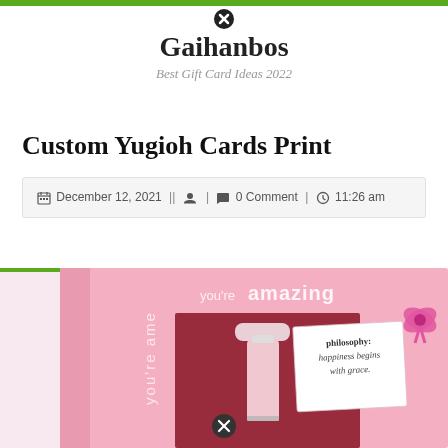Gaihanbos
Best Gift Card Ideas 2022
Custom Yugioh Cards Print
December 12, 2021 || 0 Comment | 11:26 am
[Figure (photo): Pink gift box with 'you're amazing' text and a perfume/lotion bottle visible through a dark window, along with a philosophy brand card and a pink bow decoration]